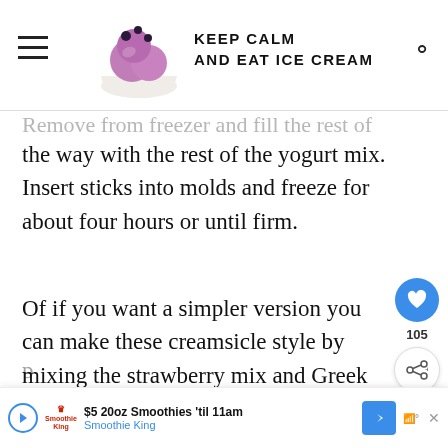KEEP CALM AND EAT ICE CREAM
Remove from freezer and fill the rest of the way with the rest of the yogurt mix. Insert sticks into molds and freeze for about four hours or until firm.
Of if you want a simpler version you can make these creamsicle style by mixing the strawberry mix and Greek yogurt together and simply pouring into popsicle molds. You wont get the same
[Figure (infographic): Social share sidebar with heart icon (105 likes) and share button]
[Figure (infographic): What's Next panel showing Strawberry popsicles with red popsicle image]
[Figure (infographic): Ad banner: $5 20oz Smoothies til 11am - Smoothie King]